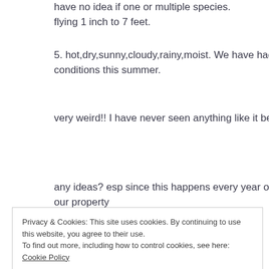have no idea if one or multiple species.
flying 1 inch to 7 feet.
5. hot,dry,sunny,cloudy,rainy,moist. We have had all conditions this summer.
very weird!! I have never seen anything like it before.
any ideas? esp since this happens every year only on our property
Privacy & Cookies: This site uses cookies. By continuing to use this website, you agree to their use.
To find out more, including how to control cookies, see here: Cookie Policy
Close and accept